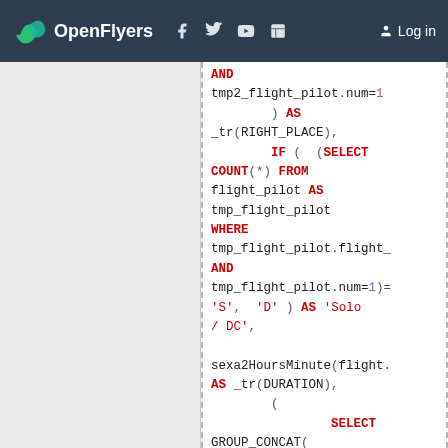OpenFlyers | Log in
AND tmp2_flight_pilot.num=1 ) AS _tr(RIGHT_PLACE), IF ( (SELECT COUNT(*) FROM flight_pilot AS tmp_flight_pilot WHERE tmp_flight_pilot.flight_ AND tmp_flight_pilot.num=1)= 'S', 'D' ) AS 'Solo / DC', sexa2HoursMinute(flight. AS _tr(DURATION), ( SELECT GROUP_CONCAT( activity_type.name SEPARATOR ', ') FROM flight AS tmp_flight LEFT JOIN activity_type ON